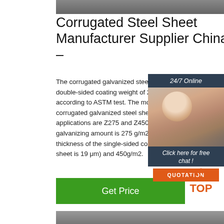[Figure (photo): Dark metallic/steel surface at top of page]
Corrugated Steel Sheet Manufacturer Supplier China –
The corrugated galvanized steel roofing double-sided coating weight of 20-700 g according to ASTM test. The most common corrugated galvanized steel sheets for b applications are Z275 and Z450, and the galvanizing amount is 275 g/m2 (the min thickness of the single-sided coated of th sheet is 19 μm) and 450g/m2.
[Figure (photo): Customer service representative with headset, 24/7 Online chat widget with QUOTATION button]
[Figure (logo): TOP logo with orange triangle dots]
[Figure (photo): Steel pipes/tubes at bottom of page]